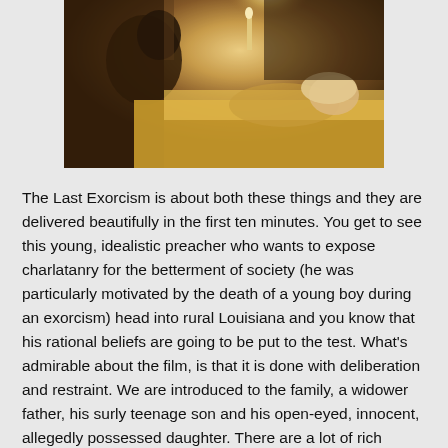[Figure (photo): A dark, warm-toned film still showing a person in dark clothing performing what appears to be an exorcism on someone lying in bed, with golden/yellow lighting and bedding visible.]
The Last Exorcism is about both these things and they are delivered beautifully in the first ten minutes. You get to see this young, idealistic preacher who wants to expose charlatanry for the betterment of society (he was particularly motivated by the death of a young boy during an exorcism) head into rural Louisiana and you know that his rational beliefs are going to be put to the test. What's admirable about the film, is that it is done with deliberation and restraint. We are introduced to the family, a widower father, his surly teenage son and his open-eyed, innocent, allegedly possessed daughter. There are a lot of rich themes going on here, including the tensions between fundamentalist Christianity and more moderate, "modern" versions which can then be extended to the ongoing conflict in the U.S. between the red and the blue states. The Last Exorcism is a